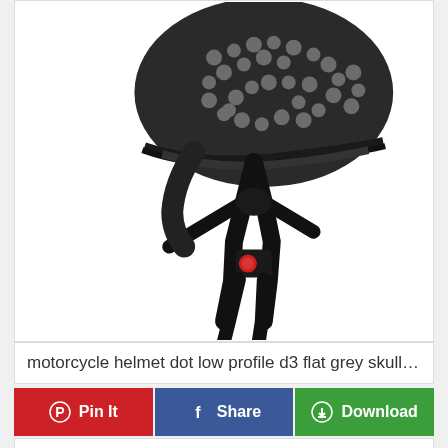[Figure (photo): A black motorcycle helmet with skull graphics printed all over it. The helmet is a low-profile half-helmet style with black chin strap, Y-shaped strap divider, and a red button/buckle at the chin area. The background is white.]
motorcycle helmet dot low profile d3 flat grey skulls gra...
Pin It
Share
Download